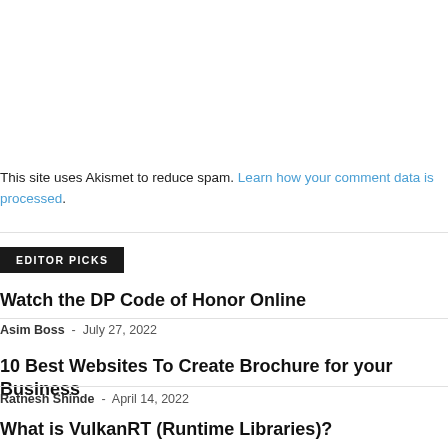This site uses Akismet to reduce spam. Learn how your comment data is processed.
EDITOR PICKS
Watch the DP Code of Honor Online
Asim Boss  -  July 27, 2022
10 Best Websites To Create Brochure for your Business
Ratnesh Shinde  -  April 14, 2022
What is VulkanRT (Runtime Libraries)?